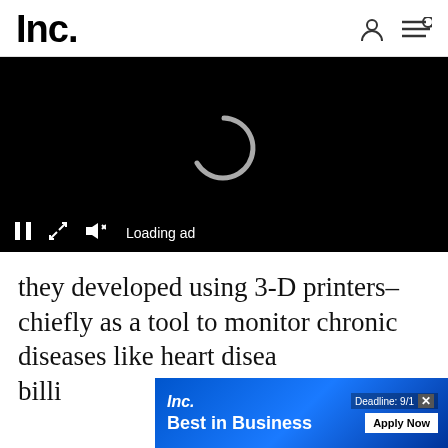Inc.
[Figure (screenshot): Video player with black background showing a loading spinner (white arc circle) and video controls at bottom: pause button, expand button, mute button, and 'Loading ad' text]
they developed using 3-D printers–chiefly as a tool to monitor chronic diseases like heart disea... billi...
[Figure (screenshot): Inc. Best in Business advertisement banner with blue gradient background, showing 'Inc.' logo, 'Best in Business' text, 'Deadline: 9/1' with close X button, and 'Apply Now' button]